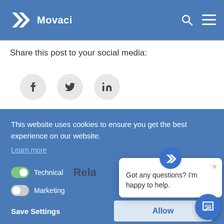[Figure (logo): Movaci logo with white arrow/chevron icon and text 'Movaci' on blue header bar]
Share this post to your social media:
[Figure (infographic): Social media share buttons: Facebook (f), Twitter (bird), LinkedIn (in) icons in circular grey buttons]
This website uses cookies to ensure you get the best experience on our website.
Learn more
Technical
Marketing
Got any questions? I'm happy to help.
Save Settings
Allow